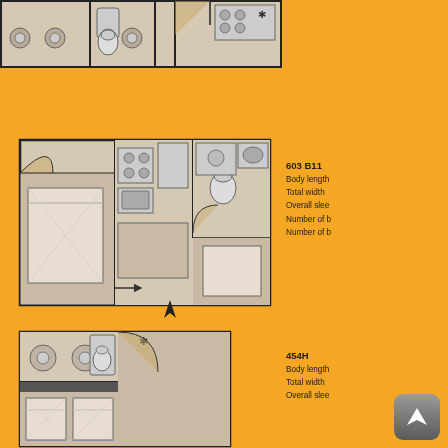[Figure (engineering-diagram): Top floor plan showing bathroom/toilet facilities and kitchen area, cropped at top of page]
[Figure (engineering-diagram): 603 B11 floor plan showing bedroom, kitchen, bathroom and toilet layout with north arrow]
603 B11
Body length
Total width
Overall slee
Number of b
Number of b
[Figure (engineering-diagram): 454H floor plan showing two bedrooms and bathroom layout, partially visible]
454H
Body length
Total width
Overall slee